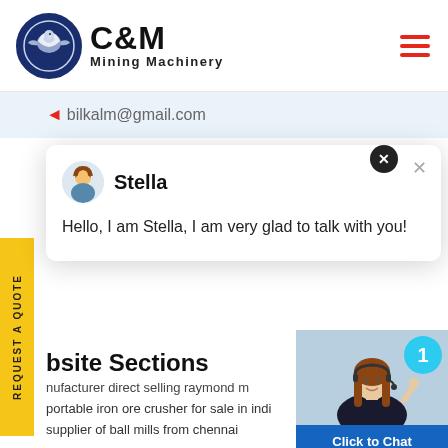[Figure (logo): C&M Mining Machinery logo with eagle gear icon, dark blue]
bilkalm@gmail.com
Stella
Hello, I am Stella, I am very glad to talk with you!
bsite Sections
nufacturer direct selling raymond m
portable iron ore crusher for sale in indi
supplier of ball mills from chennai
[Figure (photo): Female customer service agent with headset, smiling, with blue circle badge showing number 1]
Click to Chat
Enquiry